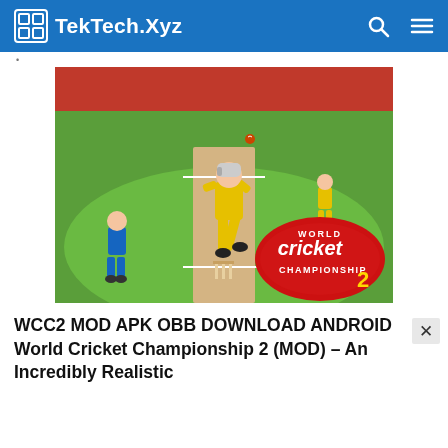TekTech.Xyz
[Figure (screenshot): World Cricket Championship 2 game screenshot showing a bowler in yellow uniform delivering a ball on a cricket field with crowd in background and WCC2 logo in bottom right]
WCC2 MOD APK OBB DOWNLOAD ANDROID World Cricket Championship 2 (MOD) – An Incredibly Realistic